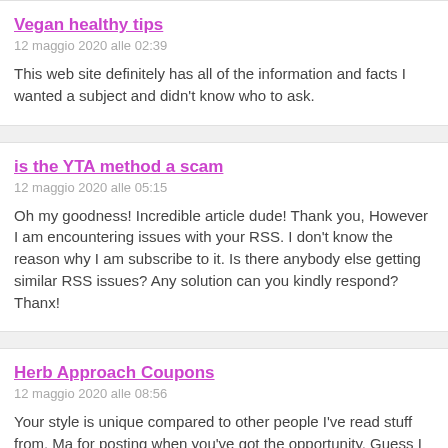Vegan healthy tips
12 maggio 2020 alle 02:39
This web site definitely has all of the information and facts I wanted a subject and didn't know who to ask.
is the YTA method a scam
12 maggio 2020 alle 05:15
Oh my goodness! Incredible article dude! Thank you, However I am encountering issues with your RSS. I don't know the reason why I am subscribe to it. Is there anybody else getting similar RSS issues? Any solution can you kindly respond? Thanx!
Herb Approach Coupons
12 maggio 2020 alle 08:56
Your style is unique compared to other people I've read stuff from. Ma for posting when you've got the opportunity, Guess I will just book ma